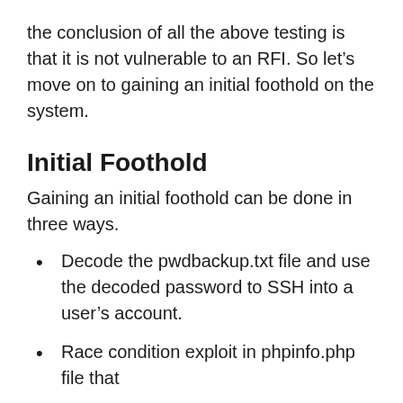the conclusion of all the above testing is that it is not vulnerable to an RFI. So let's move on to gaining an initial foothold on the system.
Initial Foothold
Gaining an initial foothold can be done in three ways.
Decode the pwdbackup.txt file and use the decoded password to SSH into a user's account.
Race condition exploit in phpinfo.php file that